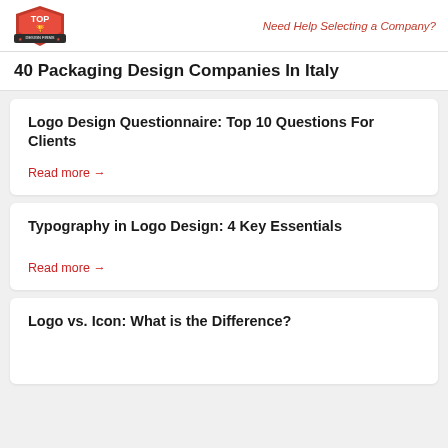Top Design Firms | Need Help Selecting a Company?
40 Packaging Design Companies In Italy
Logo Design Questionnaire: Top 10 Questions For Clients
Read more →
Typography in Logo Design: 4 Key Essentials
Read more →
Logo vs. Icon: What is the Difference?